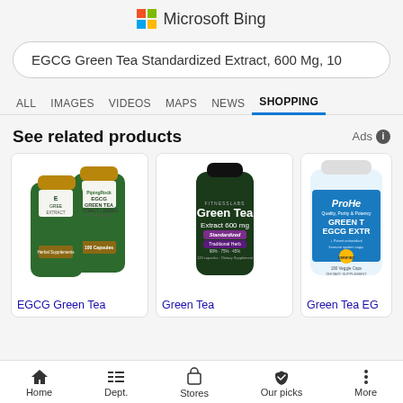Microsoft Bing
EGCG Green Tea Standardized Extract, 600 Mg, 10
ALL  IMAGES  VIDEOS  MAPS  NEWS  SHOPPING
See related products
Ads
[Figure (photo): EGCG Green Tea Extract supplement bottles by Piping Rock, 1800mg, 100 capsules]
[Figure (photo): Green Tea Extract 600mg standardized supplement bottle, dark green]
[Figure (photo): ProHealth Green Tea EGCG Extract supplement bottle, blue and white]
EGCG Green Tea
Green Tea
Green Tea EG
Home  Dept.  Stores  Our picks  More